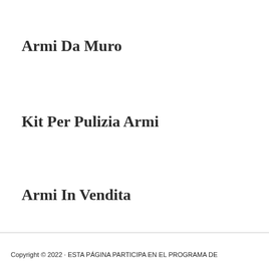Armi Da Muro
Kit Per Pulizia Armi
Armi In Vendita
Copyright © 2022 · ESTA PÁGINA PARTICIPA EN EL PROGRAMA DE